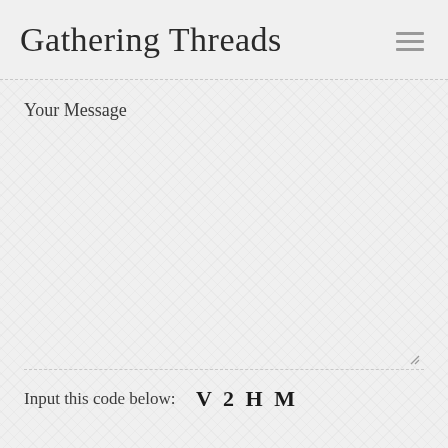Gathering Threads
Your Message
Input this code below: V 2 H M